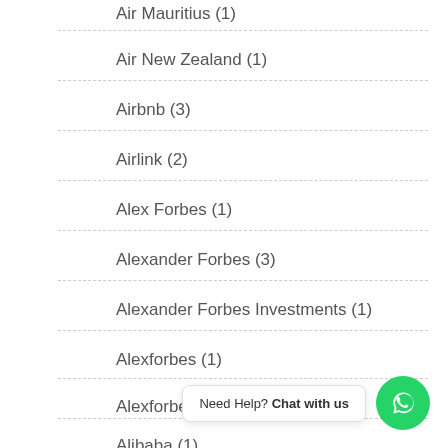Air Mauritius (1)
Air New Zealand (1)
Airbnb (3)
Airlink (2)
Alex Forbes (1)
Alexander Forbes (3)
Alexander Forbes Investments (1)
Alexforbes (1)
Alexforbes Research (1)
Alibaba (1)